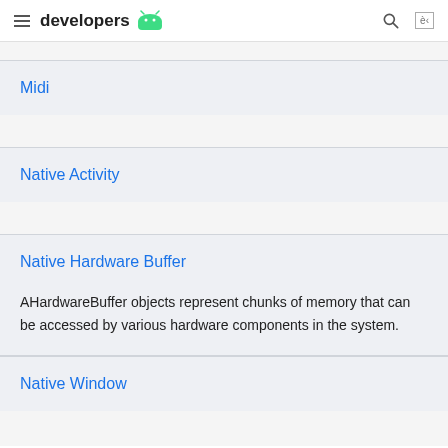developers
Midi
Native Activity
Native Hardware Buffer
AHardwareBuffer objects represent chunks of memory that can be accessed by various hardware components in the system.
Native Window